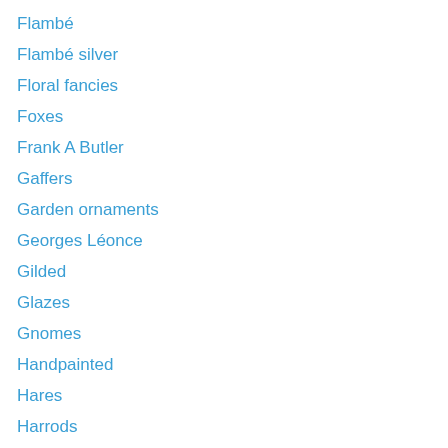Flambé
Flambé silver
Floral fancies
Foxes
Frank A Butler
Gaffers
Garden ornaments
Georges Léonce
Gilded
Glazes
Gnomes
Handpainted
Hares
Harrods
Harry Allen
Harry Fenton
Harry Rowntree
Harry Simeon
History
Holbein